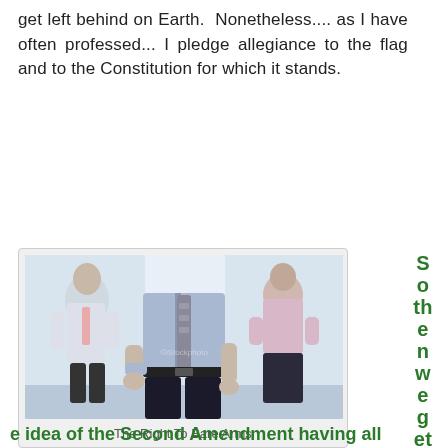get left behind on Earth.  Nonetheless.... as I have often professed... I pledge allegiance to the flag and to the Constitution for which it stands.
[Figure (photo): Photo of a man in a blue shirt and striped tie rolling up his sleeves, with two blurred figures in the background.]
The Right To Bare Arms
So then we get to the idea of the Second Amendment having all
So the new we get to th e idea of the Second Amendment having all